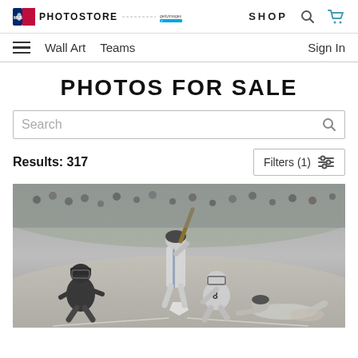MLB PHOTOSTORE — powered by Getty Images | SHOP
Wall Art   Teams   Sign In
PHOTOS FOR SALE
Search
Results: 317   Filters (1)
[Figure (photo): Vintage black and white baseball photo showing players at home plate — an umpire, a batter in Dodgers uniform, a catcher wearing #8, and a baserunner sliding, at a baseball game.]